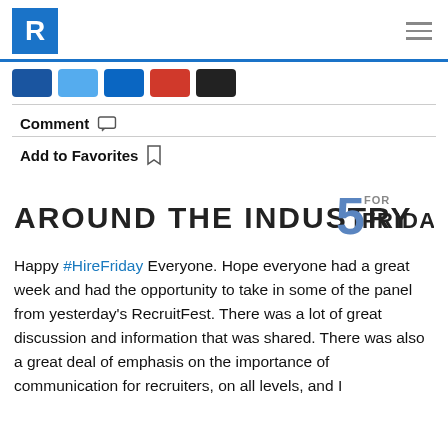R [logo] / hamburger menu
[Figure (logo): Social share buttons row: Facebook, Twitter, LinkedIn, YouTube/Google+, Email]
Comment
Add to Favorites
[Figure (logo): Around the Industry 5 for Friday logo/title graphic]
Happy #HireFriday Everyone. Hope everyone had a great week and had the opportunity to take in some of the panel from yesterday's RecruitFest. There was a lot of great discussion and information that was shared. There was also a great deal of emphasis on the importance of communication for recruiters, on all levels, and I